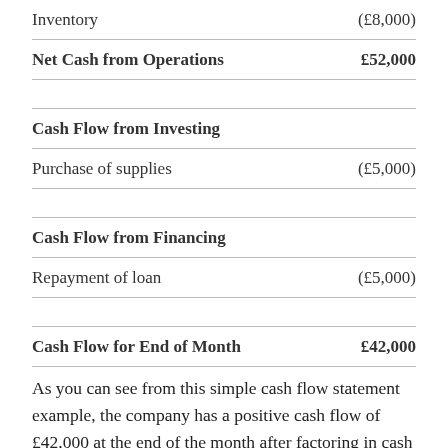| Item | Amount |
| --- | --- |
| Inventory | (£8,000) |
| Net Cash from Operations | £52,000 |
| Cash Flow from Investing |  |
| Purchase of supplies | (£5,000) |
| Cash Flow from Financing |  |
| Repayment of loan | (£5,000) |
| Cash Flow for End of Month | £42,000 |
As you can see from this simple cash flow statement example, the company has a positive cash flow of £42,000 at the end of the month after factoring in cash flows from the three sections. While both